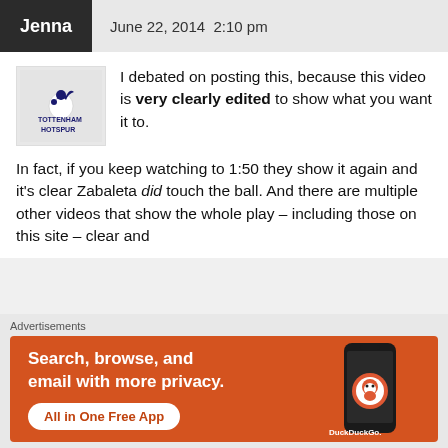Jenna   June 22, 2014 2:10 pm
I debated on posting this, because this video is very clearly edited to show what you want it to.
In fact, if you keep watching to 1:50 they show it again and it’s clear Zabaleta did touch the ball. And there are multiple other videos that show the whole play – including those on this site – clear and
[Figure (logo): Tottenham Hotspur logo on grey background]
Advertisements
[Figure (screenshot): DuckDuckGo advertisement: Search, browse, and email with more privacy. All in One Free App. Shows DuckDuckGo app on a phone.]